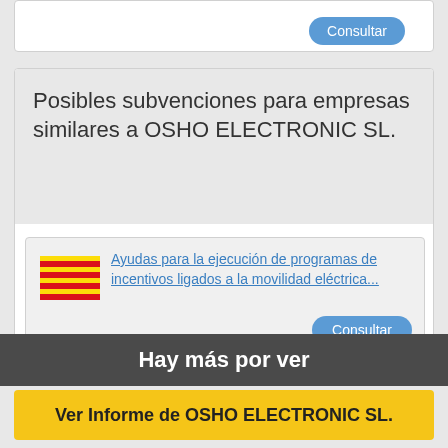[Figure (screenshot): Partial card with Consultar button visible at top]
Posibles subvenciones para empresas similares a OSHO ELECTRONIC SL.
[Figure (illustration): Catalan flag (four red stripes on yellow background)]
Ayudas para la ejecución de programas de incentivos ligados a la movilidad eléctrica...
Consultar
Categorías: Medio Ambiente y Energía, Transporte
Agrupaciones de interés económico / de empresas / de personas físicas y jurídicas, Asociaciones, Autónomos, Ayuntamientos/Municipios, Comunidades de bienes / propietarios, Cooperativas y Sociedades Laborales no Agrarias, Empresas (más
Hay más por ver
Ver Informe de OSHO ELECTRONIC SL.